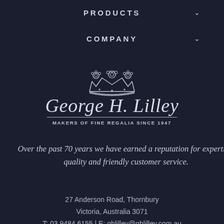PRODUCTS
COMPANY
[Figure (logo): George H. Lilley crown logo with script name and tagline 'MAKERS OF FINE REGALIA SINCE 1947']
Over the past 70 years we have earned a reputation for expertise, quality and friendly customer service.
27 Anderson Road, Thornbury
Victoria, Australia 3071
T: 03 9484 6155 | E: ghlilley@ghlilley.com.au